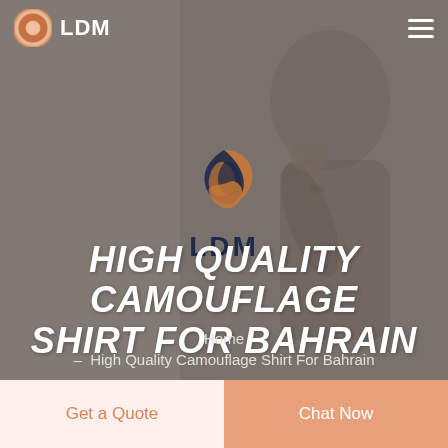[Figure (screenshot): Website screenshot showing LDM brand page for High Quality Camouflage Shirt For Bahrain. Background shows a blurred photo of a person wearing a camouflage shirt. Header contains LDM logo and hamburger menu. Center has a swirl logo mark and LDM text. Large bold italic headline reads HIGH QUALITY CAMOUFLAGE SHIRT FOR BAHRAIN. Breadcrumb shows Home - High Quality Camouflage Shirt For Bahrain. Bottom bar has two buttons: Get a Quote and Chat Now.]
LDM
HIGH QUALITY CAMOUFLAGE SHIRT FOR BAHRAIN
LDM
Home
- High Quality Camouflage Shirt For Bahrain
Get a Quote
Chat Now